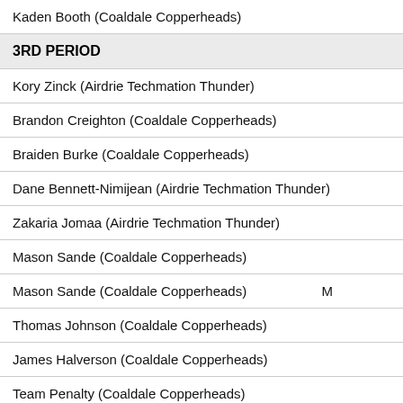Kaden Booth (Coaldale Copperheads)
3RD PERIOD
Kory Zinck (Airdrie Techmation Thunder)
Brandon Creighton (Coaldale Copperheads)
Braiden Burke (Coaldale Copperheads)
Dane Bennett-Nimijean (Airdrie Techmation Thunder)
Zakaria Jomaa (Airdrie Techmation Thunder)
Mason Sande (Coaldale Copperheads)
Mason Sande (Coaldale Copperheads)
Thomas Johnson (Coaldale Copperheads)
James Halverson (Coaldale Copperheads)
Team Penalty (Coaldale Copperheads)
COALDALE   AIRDRIE